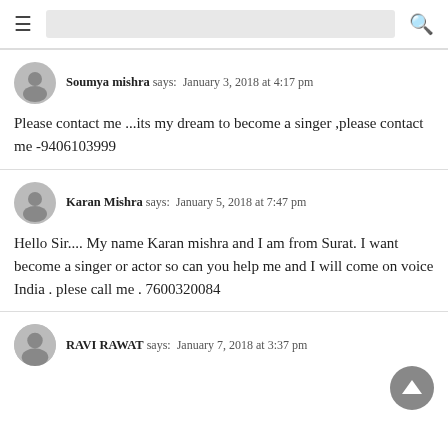≡ [search bar] 🔍
Soumya mishra says: January 3, 2018 at 4:17 pm
Please contact me ...its my dream to become a singer ,please contact me -9406103999
Karan Mishra says: January 5, 2018 at 7:47 pm
Hello Sir.... My name Karan mishra and I am from Surat. I want become a singer or actor so can you help me and I will come on voice India . plese call me . 7600320084
RAVI RAWAT says: January 7, 2018 at 3:37 pm